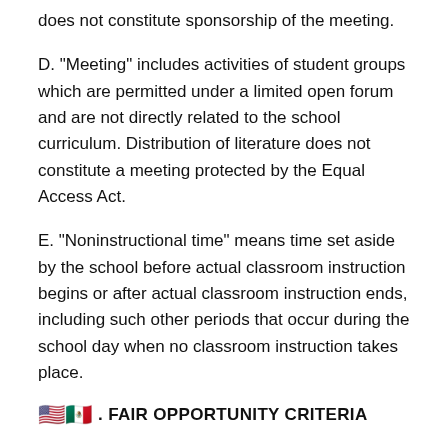does not constitute sponsorship of the meeting.
D. "Meeting" includes activities of student groups which are permitted under a limited open forum and are not directly related to the school curriculum. Distribution of literature does not constitute a meeting protected by the Equal Access Act.
E. "Noninstructional time" means time set aside by the school before actual classroom instruction begins or after actual classroom instruction ends, including such other periods that occur during the school day when no classroom instruction takes place.
🇺🇸🇲🇽. FAIR OPPORTUNITY CRITERIA